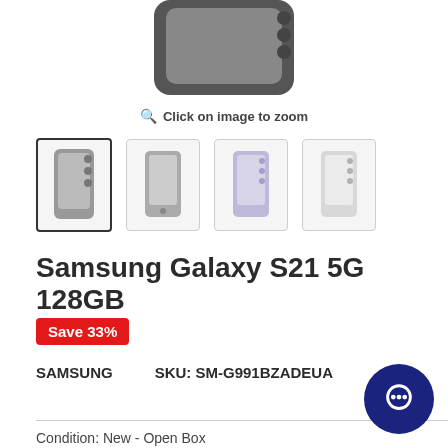[Figure (photo): Samsung Galaxy S21 5G smartphone shown from the back, dark gray color, partially visible at top of page]
Click on image to zoom
[Figure (photo): Four product thumbnail images of Samsung Galaxy S21 5G in various colors: dark gray, dark gray front view, lavender/purple, and white]
Samsung Galaxy S21 5G 128GB
Save 33%
SAMSUNG    SKU: SM-G991BZADEUA
Condition: New - Open Box